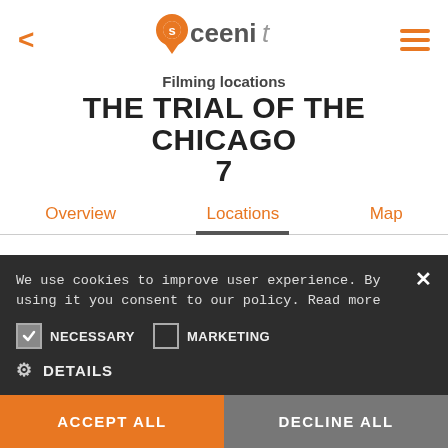[Figure (logo): Sceenit app logo with orange location pin and stylized text]
Filming locations
THE TRIAL OF THE CHICAGO 7
Overview  Locations  Map
We use cookies to improve user experience. By using it you consent to our policy. Read more
NECESSARY  MARKETING
DETAILS
ACCEPT ALL  DECLINE ALL